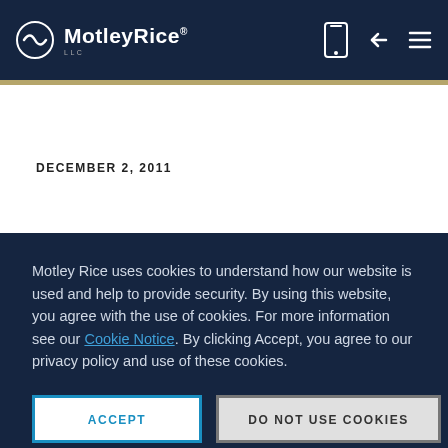MotleyRice LLC
DECEMBER 2, 2011
Motley Rice uses cookies to understand how our website is used and help to provide security. By using this website, you agree with the use of cookies. For more information see our Cookie Notice. By clicking Accept, you agree to our privacy policy and use of these cookies.